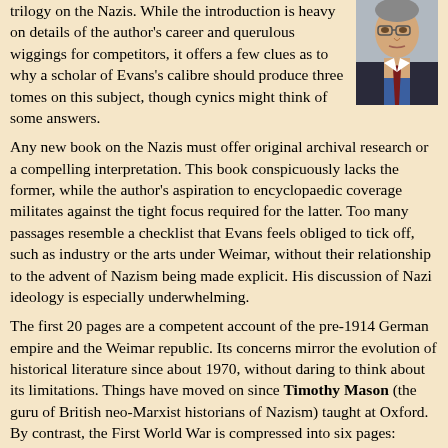trilogy on the Nazis. While the introduction is heavy on details of the author's career and querulous wiggings for competitors, it offers a few clues as to why a scholar of Evans's calibre should produce three tomes on this subject, though cynics might think of some answers.
[Figure (photo): Headshot photo of a man with glasses wearing a blue shirt and dark tie]
Any new book on the Nazis must offer original archival research or a compelling interpretation. This book conspicuously lacks the former, while the author's aspiration to encyclopaedic coverage militates against the tight focus required for the latter. Too many passages resemble a checklist that Evans feels obliged to tick off, such as industry or the arts under Weimar, without their relationship to the advent of Nazism being made explicit. His discussion of Nazi ideology is especially underwhelming.
The first 20 pages are a competent account of the pre-1914 German empire and the Weimar republic. Its concerns mirror the evolution of historical literature since about 1970, without daring to think about its limitations. Things have moved on since Timothy Mason (the guru of British neo-Marxist historians of Nazism) taught at Oxford. By contrast, the First World War is compressed into six pages: